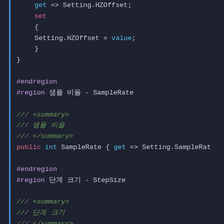[Figure (screenshot): C# source code editor screenshot on dark background showing property definitions with Korean comments, #region/#endregion blocks for SampleRate, StepSize, and MaximumFrequency properties.]